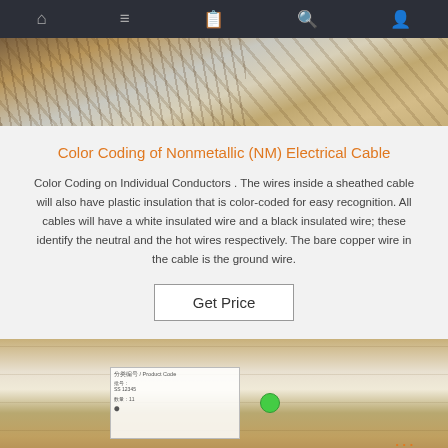[Figure (screenshot): Dark navigation bar with icons for home, menu, document, search, and user]
[Figure (photo): Close-up photo of copper electrical cable wiring with wood background]
Color Coding of Nonmetallic (NM) Electrical Cable
Color Coding on Individual Conductors . The wires inside a sheathed cable will also have plastic insulation that is color-coded for easy recognition. All cables will have a white insulated wire and a black insulated wire; these identify the neutral and the hot wires respectively. The bare copper wire in the cable is the ground wire.
Get Price
[Figure (photo): Photo of packaged lumber or boards on shelves with a TOP watermark logo in orange]